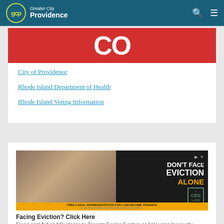Greater City Providence
[Figure (screenshot): Red banner with large white letters (partial, cropped)]
City of Providence
Rhode Island Department of Health
Rhode Island Voting Information
[Figure (photo): Advertisement: DON'T FACE EVICTION ALONE - Free Legal Representation for Low-Income Tenants by CED Law. Shows a distressed woman looking at papers.]
Facing Eviction? Click Here
Free Legal Aid and Guidance to Tenants Facing Eviction and Housing Insecurity